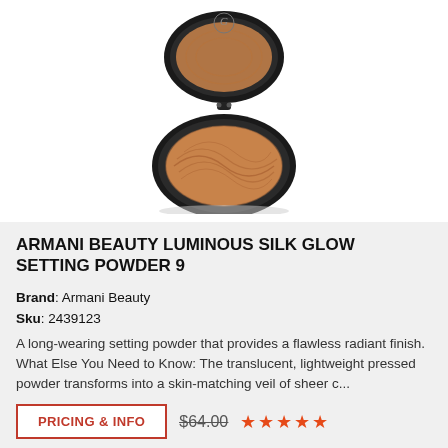[Figure (photo): Armani Beauty Luminous Silk Glow Setting Powder compact, open, showing bronzed/tan pressed powder with swirled pattern in a black oval compact with mirror lid]
ARMANI BEAUTY LUMINOUS SILK GLOW SETTING POWDER 9
Brand: Armani Beauty
Sku: 2439123
A long-wearing setting powder that provides a flawless radiant finish. What Else You Need to Know: The translucent, lightweight pressed powder transforms into a skin-matching veil of sheer c...
PRICING & INFO
$64.00